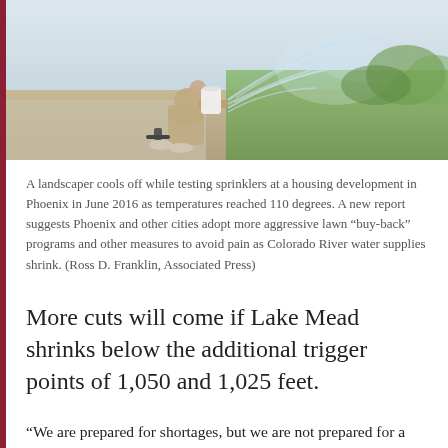[Figure (photo): A landscaper crouching near sprinkler heads that are actively spraying water on a lawn, with mist visible in the air. The person is wearing khaki clothing and sneakers.]
A landscaper cools off while testing sprinklers at a housing development in Phoenix in June 2016 as temperatures reached 110 degrees. A new report suggests Phoenix and other cities adopt more aggressive lawn “buy-back” programs and other measures to avoid pain as Colorado River water supplies shrink. (Ross D. Franklin, Associated Press)
More cuts will come if Lake Mead shrinks below the additional trigger points of 1,050 and 1,025 feet.
“We are prepared for shortages, but we are not prepared for a worst-case scenario,” said Kathryn